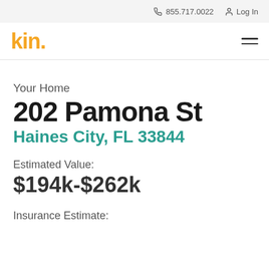855.717.0022   Log In
[Figure (logo): kin. logo in orange/yellow with hamburger menu icon]
Your Home
202 Pamona St
Haines City, FL 33844
Estimated Value:
$194k-$262k
Insurance Estimate: